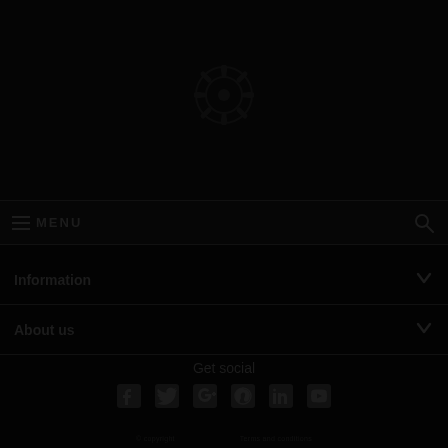[Figure (logo): Circular gear/logo icon centered at top of page, very dark on black background]
≡ MENU
Information
About us
Get social
[Figure (infographic): Social media icons: Facebook, Twitter, Google+, Pinterest, LinkedIn, YouTube]
© copyright · Terms and conditions